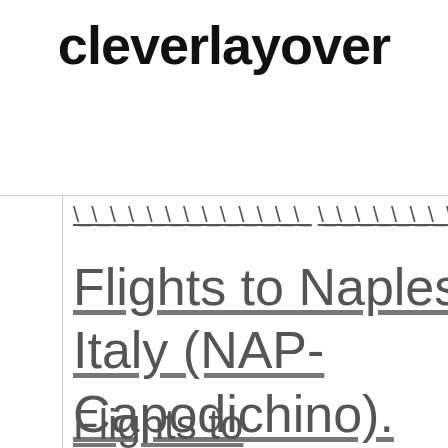cleverlayover
Flights to Naples, Italy (NAP-Capodichino)
Flights to